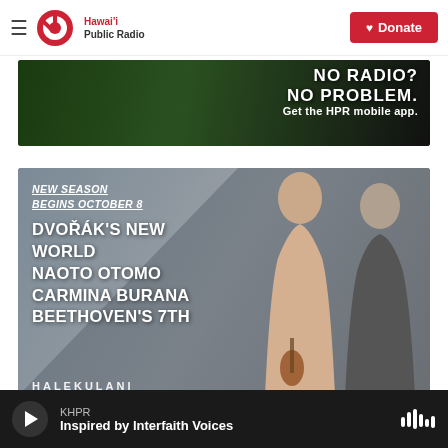Hawai'i Public Radio — Donate
[Figure (illustration): Banner advertisement: 'NO RADIO? NO PROBLEM. Get the HPR mobile app.' on a dark green background with phone imagery]
[Figure (illustration): Concert season poster: 'NEW SEASON BEGINS OCTOBER 8 — DVOŘÁK'S NEW WORLD — NAOTO OTOMO — CARMINA BURANA — BEETHOVEN'S 7TH' with two female musicians on grey background. Partially visible text HALEKULANI at bottom.]
KHPR — Inspired by Interfaith Voices